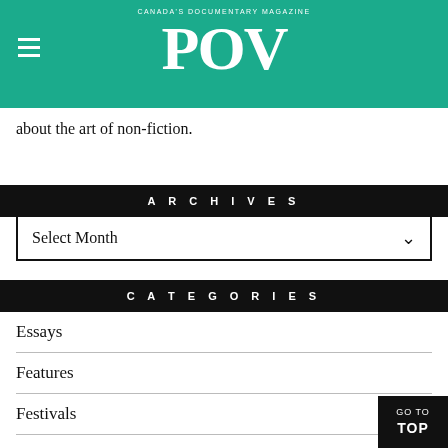CANADA'S DOCUMENTARY MAGAZINE POV
about the art of non-fiction.
ARCHIVES
Select Month
CATEGORIES
Essays
Features
Festivals
Hot Docs
Industry